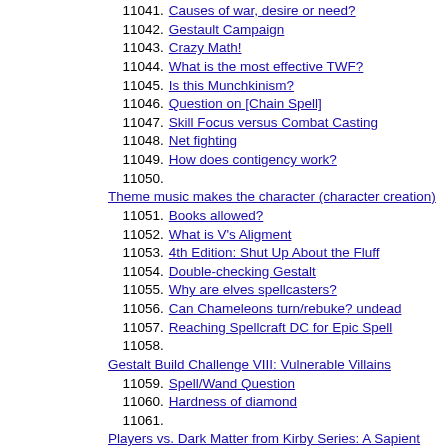11041. Causes of war, desire or need?
11042. Gestault Campaign
11043. Crazy Math!
11044. What is the most effective TWF?
11045. Is this Munchkinism?
11046. Question on [Chain Spell]
11047. Skill Focus versus Combat Casting
11048. Net fighting
11049. How does contigency work?
11050. Theme music makes the character (character creation)
11051. Books allowed?
11052. What is V's Aligment
11053. 4th Edition: Shut Up About the Fluff
11054. Double-checking Gestalt
11055. Why are elves spellcasters?
11056. Can Chameleons turn/rebuke? undead
11057. Reaching Spellcraft DC for Epic Spell
11058. Gestalt Build Challenge VIII: Vulnerable Villains
11059. Spell/Wand Question
11060. Hardness of diamond
11061. Players vs. Dark Matter from Kirby Series: A Sapient Force of Sorrow(ie Almighty Emo)
11062. Natural powers for an ooze?
11063. Evil-oriented classes
11064. Does Still spell work like this?
11065. [News] Paizo Announces Pathfinder RPG
11066. 3.5: The Beginning?
11067. Improved Trip (feat description)
11068. Expanding the Duskblade's spell list: How?
11069. Death Delver, any good?